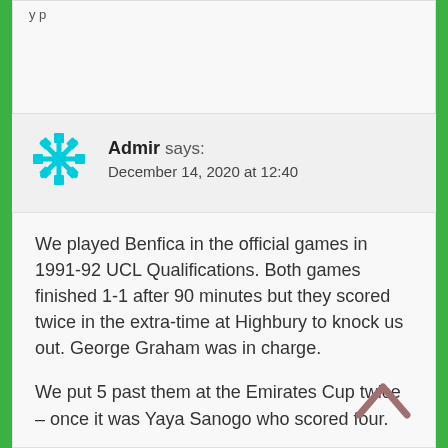[Figure (illustration): Truncated top comment card with partial text 'y p' visible]
Admir says:
December 14, 2020 at 12:40
We played Benfica in the official games in 1991-92 UCL Qualifications. Both games finished 1-1 after 90 minutes but they scored twice in the extra-time at Highbury to knock us out. George Graham was in charge.

We put 5 past them at the Emirates Cup twice – once it was Yaya Sanogo who scored four.